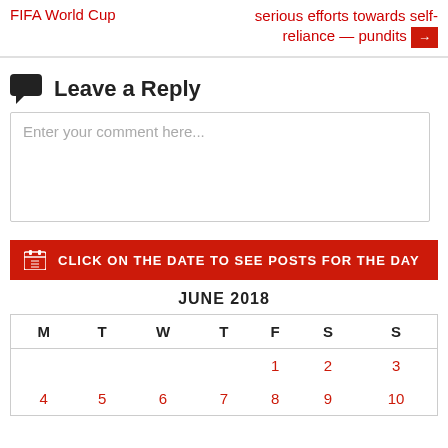FIFA World Cup
serious efforts towards self-reliance — pundits →
Leave a Reply
Enter your comment here...
CLICK ON THE DATE TO SEE POSTS FOR THE DAY
JUNE 2018
| M | T | W | T | F | S | S |
| --- | --- | --- | --- | --- | --- | --- |
|  |  |  |  | 1 | 2 | 3 |
| 4 | 5 | 6 | 7 | 8 | 9 | 10 |